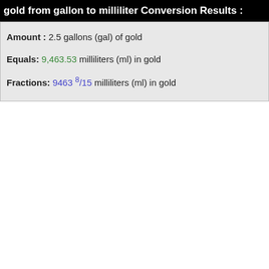gold from gallon to milliliter Conversion Results :
Amount : 2.5 gallons (gal) of gold
Equals: 9,463.53 milliliters (ml) in gold
Fractions: 9463 8/15 milliliters (ml) in gold